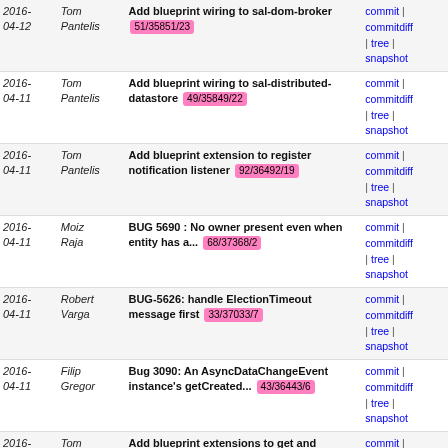| Date | Author | Message | Links |
| --- | --- | --- | --- |
| 2016-04-12 | Tom Pantelis | Add blueprint wiring to sal-dom-broker 51/35851/23 | commit | commitdiff | tree | snapshot |
| 2016-04-11 | Tom Pantelis | Add blueprint wiring to sal-distributed-datastore 49/35849/22 | commit | commitdiff | tree | snapshot |
| 2016-04-11 | Tom Pantelis | Add blueprint extension to register notification listener 92/36492/19 | commit | commitdiff | tree | snapshot |
| 2016-04-11 | Moiz Raja | BUG 5690 : No owner present even when entity has a... 68/37368/2 | commit | commitdiff | tree | snapshot |
| 2016-04-11 | Robert Varga | BUG-5626: handle ElectionTimeout message first 33/37033/7 | commit | commitdiff | tree | snapshot |
| 2016-04-11 | Filip Gregor | Bug 3090: An AsyncDataChangeEvent instance's getCreated... 43/36443/6 | commit | commitdiff | tree | snapshot |
| 2016-04-08 | Tom Pantelis | Add blueprint extensions to get and register RPC services 85/36485/20 | commit | commitdiff | tree | snapshot |
| 2016-04-07 | Tom Pantelis | Add decorating "type" attr extension for service refs 82/36482/21 | commit | commitdiff | tree | snapshot |
| 2016-04-07 | Tom Pantelis | Add restart-dependents-on-update blueprint extension 76/36476/20 | commit | commitdiff | tree | snapshot |
| 2016-04-07 | Tom Pantelis | Add Blueprint bundle tracker 48/35848/15 | commit | commitdiff | tree | snapshot |